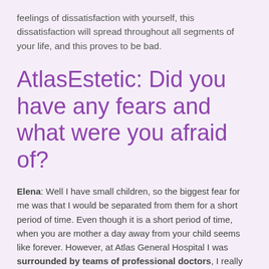feelings of dissatisfaction with yourself, this dissatisfaction will spread throughout all segments of your life, and this proves to be bad.
AtlasEstetic: Did you have any fears and what were you afraid of?
Elena: Well I have small children, so the biggest fear for me was that I would be separated from them for a short period of time. Even though it is a short period of time, when you are mother a day away from your child seems like forever. However, at Atlas General Hospital I was surrounded by teams of professional doctors, I really felt comfortable and that I was in safe hands.